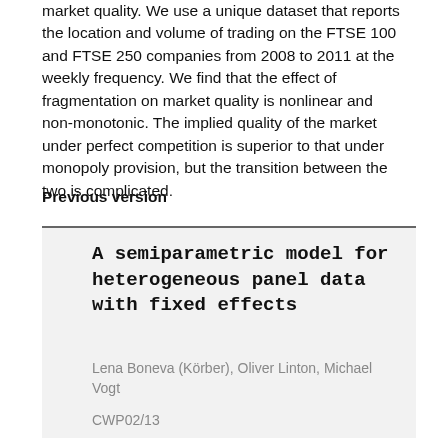market quality. We use a unique dataset that reports the location and volume of trading on the FTSE 100 and FTSE 250 companies from 2008 to 2011 at the weekly frequency. We find that the effect of fragmentation on market quality is nonlinear and non-monotonic. The implied quality of the market under perfect competition is superior to that under monopoly provision, but the transition between the two is complicated.
Previous version
A semiparametric model for heterogeneous panel data with fixed effects
Lena Boneva (Körber), Oliver Linton, Michael Vogt
CWP02/13